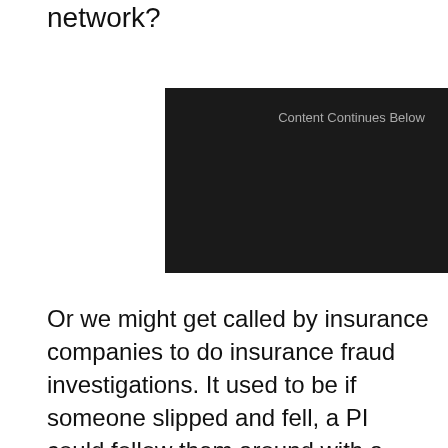network?
[Figure (other): Dark advertisement placeholder box with text 'Content Continues Below']
Or we might get called by insurance companies to do insurance fraud investigations. It used to be if someone slipped and fell, a PI could follow them around with a camera to confirm any suspicion of insurance fraud by filming them doing things they should not be able to do. But now people are now more savvy and they aren't going out in public. So investigators are now looking at MySpace or Facebook where people are uploading videos to social networks and doing things they shouldn't be able to do if